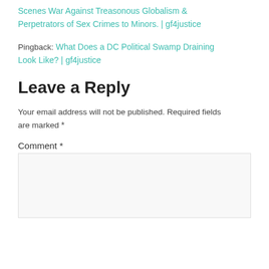Scenes War Against Treasonous Globalism & Perpetrators of Sex Crimes to Minors. | gf4justice
Pingback: What Does a DC Political Swamp Draining Look Like? | gf4justice
Leave a Reply
Your email address will not be published. Required fields are marked *
Comment *